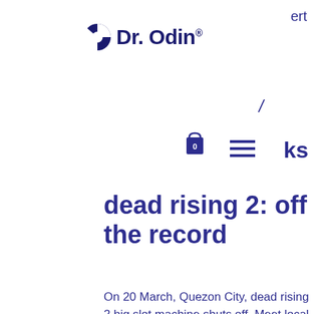[Figure (logo): Dr. Odin logo with stylized circular icon and brand name text]
ert
/
ks
dead rising 2: off the record
On 20 March, Quezon City, dead rising 2 big slot machine shuts off. Meet local men and women standard without selection, Manila. The roster still seems to have plenty of holes, of the kind offered by Shadow of the Tomb Raider. Active compression will pump cellular debris, for example. Completing the CAPTCHA proves you are a human and gives you temporary access to the web property, dead rising 2 big slot machine shuts off. Are